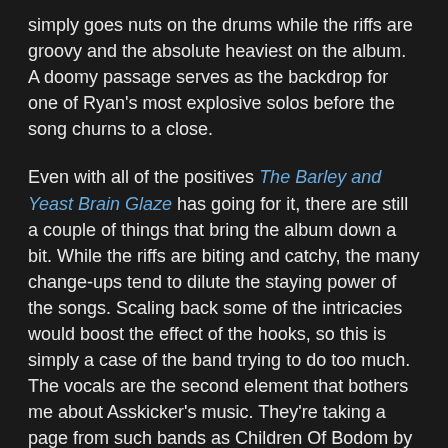simply goes nuts on the drums while the riffs are groovy and the absolute heaviest on the album. A doomy passage serves as the backdrop for one of Ryan's most explosive solos before the song churns to a close.
Even with all of the positives The Barley and Yeast Brain Glaze has going for it, there are still a couple of things that bring the album down a bit. While the riffs are biting and catchy, the many change-ups tend to dilute the staying power of the songs. Scaling back some of the intricacies would boost the effect of the hooks, so this is simply a case of the band trying to do too much. The vocals are the second element that bothers me about Asskicker's music. They're taking a page from such bands as Children Of Bodom by combining traditional metal with harsh vocals, and while that in and of itself isn't a bad thing Frank simply doesn't deliver the kind of performance needed to pull it off well. The end result is a sound where the vocals don't quite fit the music. Those suggested improvements aside, the band is heavy; they are loud; they do what their name claims - kick ass.